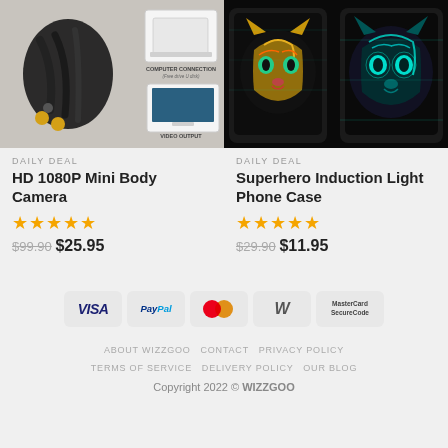[Figure (photo): HD 1080P Mini Body Camera product image showing black cables/connectors on left, and diagram showing computer connection with free drive U disk and video output via TV on right]
[Figure (photo): Superhero Induction Light Phone Case product showing two phone cases with glowing neon tiger head designs on black background]
DAILY DEAL
HD 1080P Mini Body Camera
★★★★★
$99.90  $25.95
DAILY DEAL
Superhero Induction Light Phone Case
★★★★★
$29.90  $11.95
[Figure (logo): Payment method icons: VISA, PayPal, MasterCard, Worldline, MasterCard SecureCode]
ABOUT WIZZGOO   CONTACT   PRIVACY POLICY   TERMS OF SERVICE   DELIVERY POLICY   OUR BLOG
Copyright 2022 © WIZZGOO